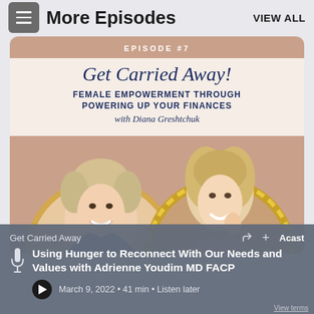More Episodes  VIEW ALL
[Figure (screenshot): Podcast episode card for 'Get Carried Away' Episode #7 titled 'Get Carried Away! Female Empowerment Through Powering Up Your Finances with Diana Greshtchuk' showing two women's portrait photos in circular frames on a beige/mauve background]
Get Carried Away
Using Hunger to Reconnect With Our Needs and Values with Adrienne Youdim MD FACP
March 9, 2022 • 41 min • Listen later